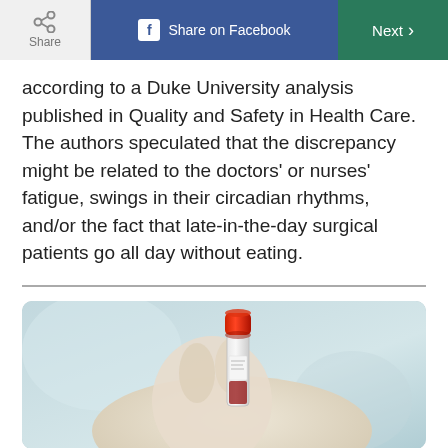Share | Share on Facebook | Next
according to a Duke University analysis published in Quality and Safety in Health Care. The authors speculated that the discrepancy might be related to the doctors' or nurses' fatigue, swings in their circadian rhythms, and/or the fact that late-in-the-day surgical patients go all day without eating.
[Figure (photo): A gloved hand holding a small blood collection vial with a red cap against a light blue-green background.]